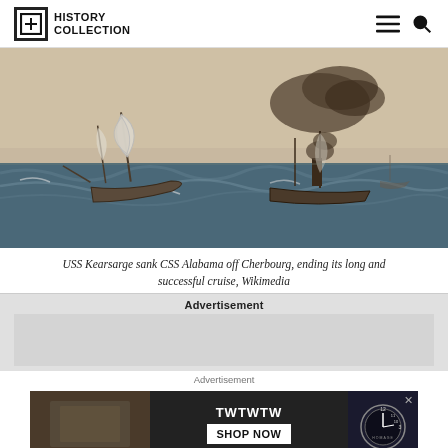HISTORY COLLECTION
[Figure (photo): Naval battle painting showing two 19th century sailing/steam warships on rough seas, one with sails and one with steam smoke, painted in muted blue-gray tones.]
USS Kearsarge sank CSS Alabama off Cherbourg, ending its long and successful cruise, Wikimedia
Advertisement
Advertisement
[Figure (photo): Advertisement banner showing TWTWTW brand with SHOP NOW button and a watch image on dark background.]